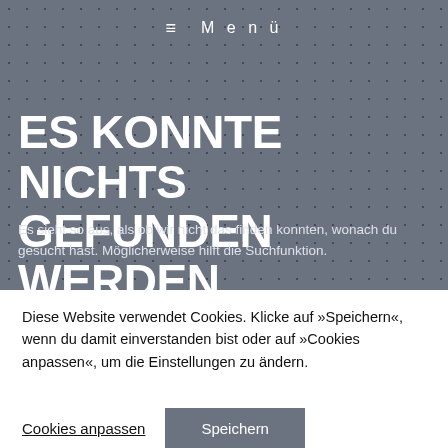≡  M e n ü
ES KONNTE NICHTS GEFUNDEN WERDEN.
Es sieht so aus, als ob wir nicht das finden konnten, wonach du gesucht hast. Möglicherweise hilft die Suchfunktion.
Diese Website verwendet Cookies. Klicke auf »Speichern«, wenn du damit einverstanden bist oder auf »Cookies anpassen«, um die Einstellungen zu ändern.
Cookies anpassen   Speichern